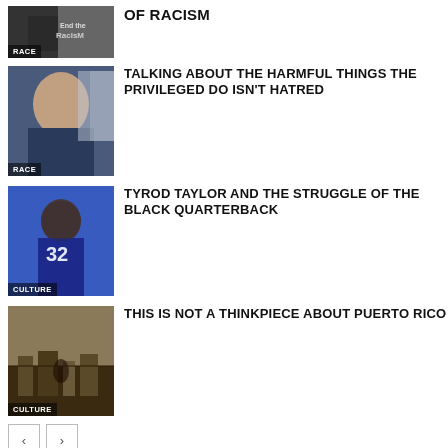OF RACISM
TALKING ABOUT THE HARMFUL THINGS THE PRIVILEGED DO ISN'T HATRED
TYROD TAYLOR AND THE STRUGGLE OF THE BLACK QUARTERBACK
THIS IS NOT A THINKPIECE ABOUT PUERTO RICO
ALSO ON THE INTERSECTION | MADNESS & REALITY